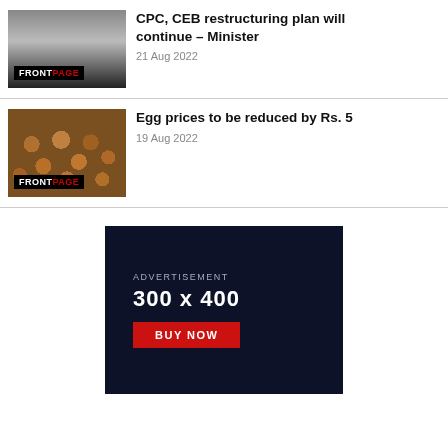[Figure (photo): Thumbnail image of a person with FRONTPAGE badge overlay]
CPC, CEB restructuring plan will continue – Minister
21 Aug 2022
[Figure (photo): Thumbnail image of stacked egg trays with FRONTPAGE badge overlay]
Egg prices to be reduced by Rs. 5
19 Aug 2022
[Figure (infographic): Dark navy advertisement block reading ADVERTISEMENT 300 x 400 with BUY NOW red button]